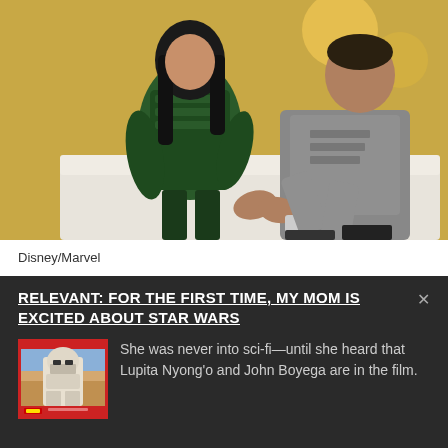[Figure (photo): Two people sitting on a white couch — one wearing a green superhero/villain costume and the other in a grey long-sleeve shirt, with a yellow background]
Disney/Marvel
RELEVANT: FOR THE FIRST TIME, MY MOM IS EXCITED ABOUT STAR WARS
[Figure (photo): Star Wars trading card thumbnail showing a young Black man in a stormtrooper outfit against a desert background, with red Star Wars logo border]
She was never into sci-fi—until she heard that Lupita Nyong'o and John Boyega are in the film.